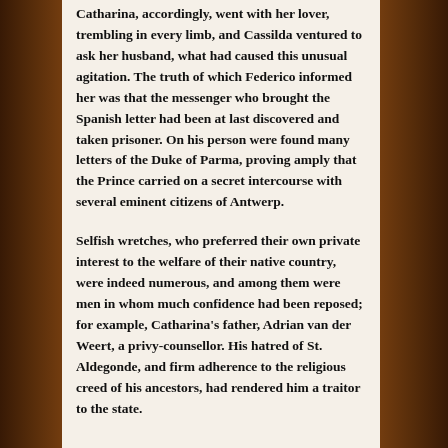Catharina, accordingly, went with her lover, trembling in every limb, and Cassilda ventured to ask her husband, what had caused this unusual agitation.   The truth of which Federico informed her was that the messenger who brought the Spanish letter had been at last discovered and taken prisoner.  On his person were found many letters of the Duke of Parma, proving amply that the Prince carried on a secret intercourse with several eminent citizens of Antwerp.

Selfish wretches, who preferred their own private interest to the welfare of their native country, were indeed numerous, and among them were men in whom much confidence had been reposed; for example, Catharina's father, Adrian van der Weert, a privy-counsellor.  His hatred of St. Aldegonde, and firm adherence to the religious creed of his ancestors, had rendered him a traitor to the state.